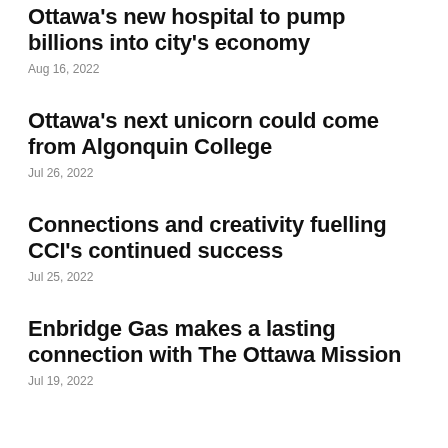Ottawa's new hospital to pump billions into city's economy
Aug 16, 2022
Ottawa's next unicorn could come from Algonquin College
Jul 26, 2022
Connections and creativity fuelling CCI's continued success
Jul 25, 2022
Enbridge Gas makes a lasting connection with The Ottawa Mission
Jul 19, 2022